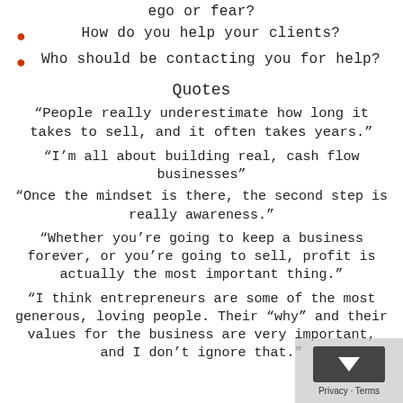ego or fear?
How do you help your clients?
Who should be contacting you for help?
Quotes
“People really underestimate how long it takes to sell, and it often takes years.”
“I’m all about building real, cash flow businesses”
“Once the mindset is there, the second step is really awareness.”
“Whether you’re going to keep a business forever, or you’re going to sell, profit is actually the most important thing.”
“I think entrepreneurs are some of the most generous, loving people. Their “why” and their values for the business are very important, and I don’t ignore that.”